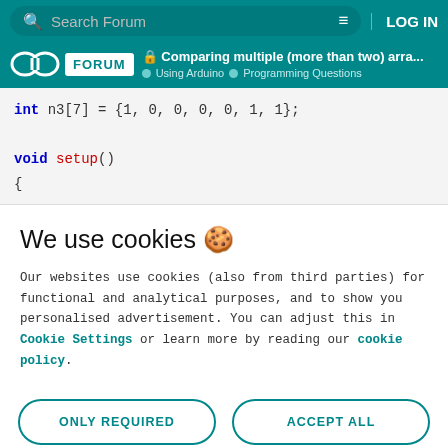Search Forum  LOG IN
FORUM  Comparing multiple (more than two) arra... Using Arduino  Programming Questions
int n3[7] = {1, 0, 0, 0, 0, 1, 1};

void setup()
{
We use cookies 🍪
Our websites use cookies (also from third parties) for functional and analytical purposes, and to show you personalised advertisement. You can adjust this in Cookie Settings or learn more by reading our cookie policy.
ONLY REQUIRED
ACCEPT ALL